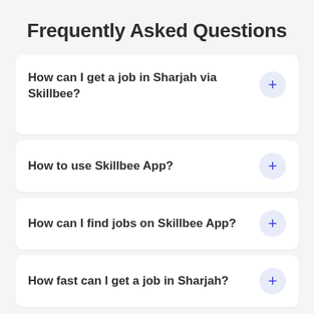Frequently Asked Questions
How can I get a job in Sharjah via Skillbee?
How to use Skillbee App?
How can I find jobs on Skillbee App?
How fast can I get a job in Sharjah?